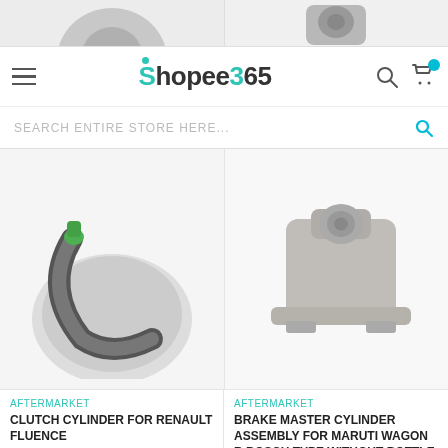[Figure (photo): Top partial product images — clutch cylinder part on left, brake cylinder part on right]
Shopee365 — navigation bar with hamburger menu, logo, search and cart icons
SEARCH ENTIRE STORE HERE...
[Figure (photo): Product image: Clutch Cylinder for Renault Fluence — close-up of a curved rubber hose with green fitting]
AFTERMARKET
CLUTCH CYLINDER FOR RENAULT FLUENCE
RENAULT FLUENCE
₹3,799.00  ₹4,500.00
[Figure (photo): Product image: Brake Master Cylinder Assembly for Maruti Wagon R Bosch Type Without Bottle — metallic brake master cylinder]
AFTERMARKET
BRAKE MASTER CYLINDER ASSEMBLY FOR MARUTI WAGON R BOSCH TYPE WITHOUT BOTTLE
₹1,999.00  ₹2,800.00